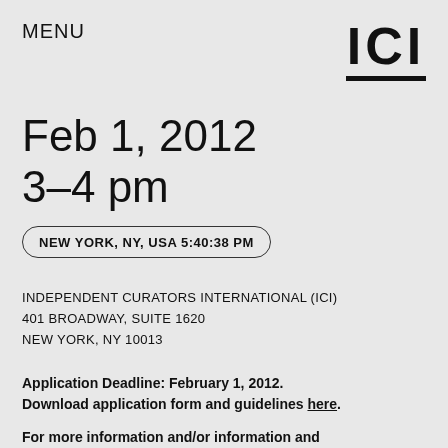MENU
[Figure (logo): ICI logo — bold black letters 'ICI' with a thick black underline bar]
Feb 1, 2012
3–4 pm
NEW YORK, NY, USA 5:40:38 PM
INDEPENDENT CURATORS INTERNATIONAL (ICI)
401 BROADWAY, SUITE 1620
NEW YORK, NY 10013
Application Deadline: February 1, 2012. Download application form and guidelines here.
For more information and/or information and application in Spanish, visit here